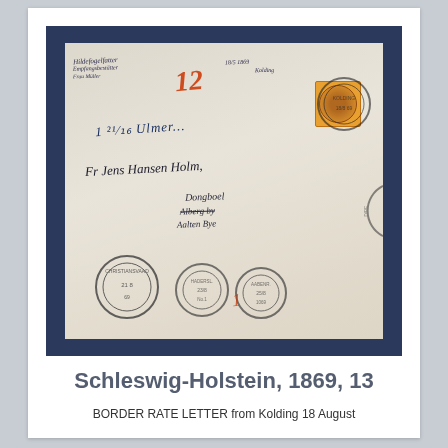[Figure (photo): A historical postal cover (letter) from Kolding, dated 1869, showing handwritten addresses, a red manuscript marking, an orange stamp (Schleswig-Holstein 13), and multiple circular postmarks including Christiansvaad and other transit marks on a blue-grey framed background.]
Schleswig-Holstein, 1869, 13
BORDER RATE LETTER from Kolding 18 August